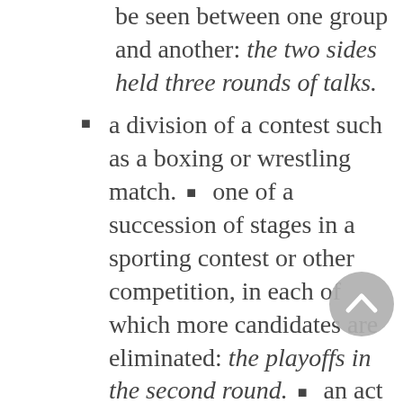be seen between one group and another: the two sides held three rounds of talks.
a division of a contest such as a boxing or wrestling match.
one of a succession of stages in a sporting contest or other competition, in each of which more candidates are eliminated: the playoffs in the second round.
an act of playing all the holes in a